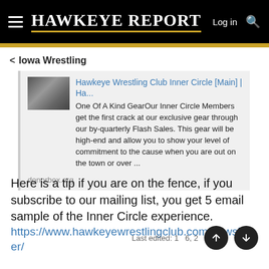HAWKEYE REPORT
< Iowa Wrestling
[Figure (screenshot): Link preview card for Hawkeye Wrestling Club Inner Circle [Main] | Ha... with thumbnail image and text excerpt from donorbox.org. Description: One Of A Kind GearOur Inner Circle Members get the first crack at our exclusive gear through our by-quarterly Flash Sales. This gear will be high-end and allow you to show your level of commitment to the cause when you are out on the town or over ...]
Here is a tip if you are on the fence, if you subscribe to our mailing list, you get 5 email sample of the Inner Circle experience.
https://www.hawkeyewrestlingclub.com/newsletter/
Last edited: 1   6, 2